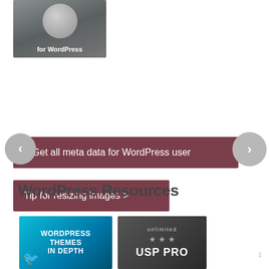[Figure (screenshot): WordPress-related thumbnail image showing text 'for WordPress' on a dark background with a circular graphic element]
< Get all meta data for WordPress user
Tip for resizing images >
WordPress Resources
[Figure (photo): Book cover: 'WordPress Themes In Depth' with blue underwater background and Twitter bird icon]
[Figure (photo): Product image: 'unlimited USP PRO' with stars on dark background]